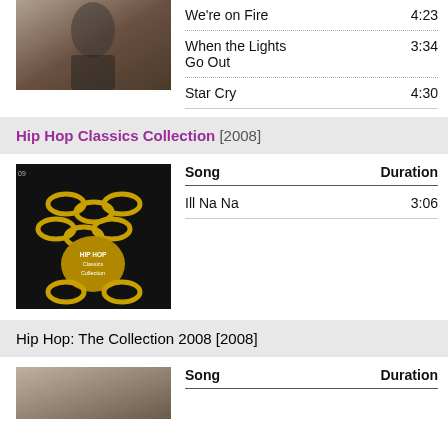| Song | Duration |
| --- | --- |
| We're on Fire | 4:23 |
| When the Lights Go Out | 3:34 |
| Star Cry | 4:30 |
Hip Hop Classics Collection [2008]
[Figure (photo): Hip Hop Classics Collection album cover showing gold chains and medallion]
| Song | Duration |
| --- | --- |
| Ill Na Na | 3:06 |
Hip Hop: The Collection 2008 [2008]
[Figure (photo): Partial album cover at bottom of page]
| Song | Duration |
| --- | --- |